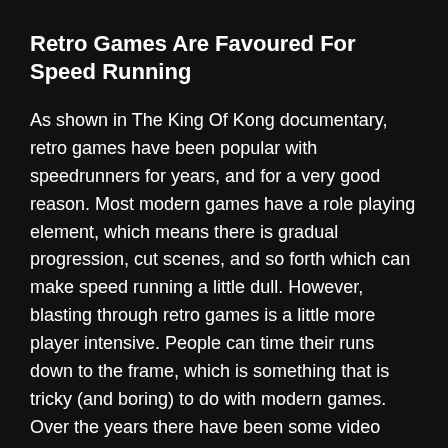Retro Games Are Favoured For Speed Running
As shown in The King Of Kong documentary, retro games have been popular with speedrunners for years, and for a very good reason. Most modern games have a role playing element, which means there is gradual progression, cut scenes, and so forth which can make speed running a little dull. However, blasting through retro games is a little more player intensive. People can time their runs down to the frame, which is something that is tricky (and boring) to do with modern games. Over the years there have been some video games that have become notable for speedrunning.
Super Mario series